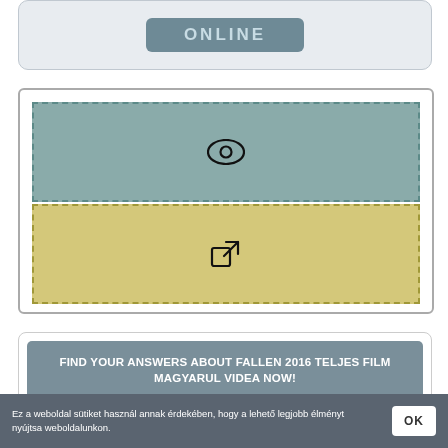[Figure (screenshot): ONLINE button with grey-blue background in a rounded box]
[Figure (screenshot): Two-panel UI widget: top panel (teal/blue-green) with eye icon, bottom panel (khaki/yellow-green) with external link icon, both with dashed borders]
FIND YOUR ANSWERS ABOUT FALLEN 2016 TELJES FILM MAGYARUL VIDEA NOW!
https://www.answersite.com/search?...
Ez a weboldal sütiket használ annak érdekében, hogy a lehető legjobb élményt nyújtsa weboldalunkon.
OK